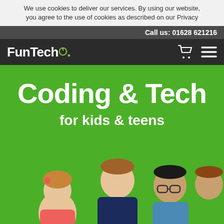We use cookies to deliver our services. By using our website, you agree to the use of cookies as described on our Privacy
Call us: 01628 621216
[Figure (logo): FunTech logo with power icon on dark bar, shopping cart and hamburger menu icons]
Coding & Tech
for kids & teens
[Figure (photo): Group of children and teens smiling on a green background]